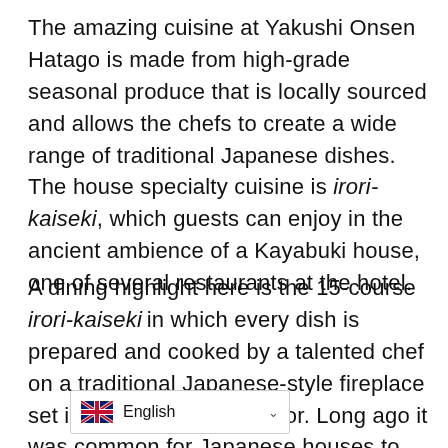The amazing cuisine at Yakushi Onsen Hatago is made from high-grade seasonal produce that is locally sourced and allows the chefs to create a wide range of traditional Japanese dishes. The house specialty cuisine is irori-kaiseki, which guests can enjoy in the ancient ambience of a Kayabuki house, one of several restaurants at the hotel.
A dining highlight here is the 15-course irori-kaiseki in which every dish is prepared and cooked by a talented chef on a traditional Japanese-style fireplace set in the middle of the floor. Long ago it was common for Japanese houses to have a central fireplace that would be used for heating and cooking purposes. These days, however, such fireplaces are becoming harder to find. Kayabuki no Sato Yakushi Onsen... menu based exclusively on